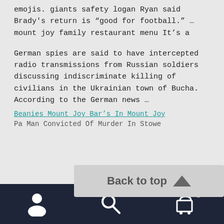emojis. giants safety logan Ryan said Brady's return is “good for football.” … mount joy family restaurant menu It’s a
German spies are said to have intercepted radio transmissions from Russian soldiers discussing indiscriminate killing of civilians in the Ukrainian town of Bucha. According to the German news …
Beanies Mount Joy Bar’s In Mount Joy
Pa Man Convicted Of Murder In Stowe
[Figure (screenshot): Back to top button overlay with upward arrow triangle]
[Figure (screenshot): Dark navy bottom navigation bar with person icon, search icon, and cart icon with badge showing 0]